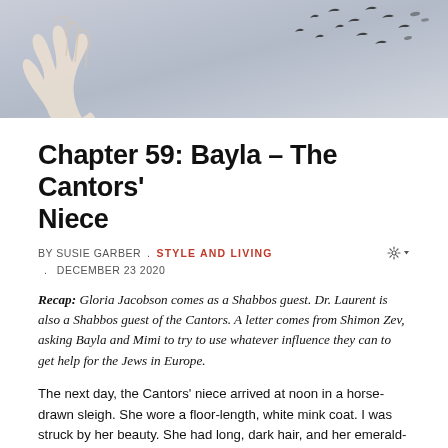[Figure (photo): A hand releasing birds into a grey-blue sky, with bird silhouettes flying away in the upper right.]
Chapter 59: Bayla – The Cantors' Niece
BY SUSIE GARBER . STYLE AND LIVING
. DECEMBER 23 2020
Recap: Gloria Jacobson comes as a Shabbos guest. Dr. Laurent is also a Shabbos guest of the Cantors. A letter comes from Shimon Zev, asking Bayla and Mimi to try to use whatever influence they can to get help for the Jews in Europe.
The next day, the Cantors' niece arrived at noon in a horse-drawn sleigh. She wore a floor-length, white mink coat. I was struck by her beauty. She had long, dark hair, and her emerald-color eyes were fringed with thick, dark lashes. The sleigh driver carried in a trunk. "Thank you, Mr. George," she said. "I'll see you next week."